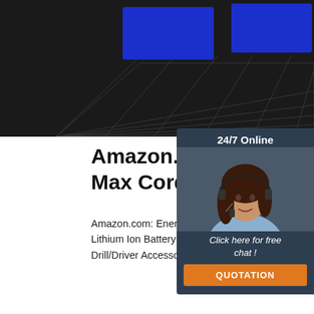[Figure (screenshot): Dark 3D grid background with blue rectangular shapes, top portion of a webpage screenshot]
Amazon.com: EnerTwist 20' Max Cordless Drill, 3/8 Inch
Amazon.com: EnerTwist 20V Max Cordless Inch Power Drill Set with Lithium Ion Battery Charger, Variable Speed, 19 Positions and 2 Pieces Drill/Driver Accessories Kit, ET-CD-2 & Home Improvement
[Figure (infographic): Chat widget with '24/7 Online' label, photo of female customer service agent with headset, 'Click here for free chat!' text, and orange QUOTATION button]
Get Price